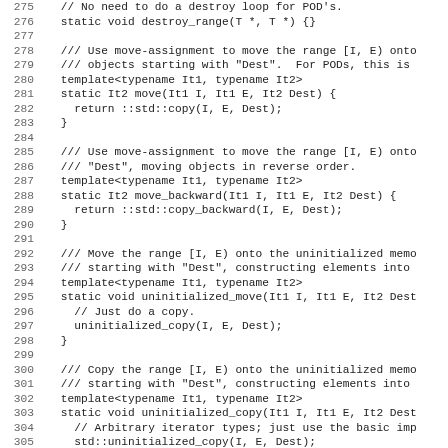Source code listing showing C++ template utility functions (lines 275-306) including destroy_range, move, move_backward, uninitialized_move, and uninitialized_copy methods.